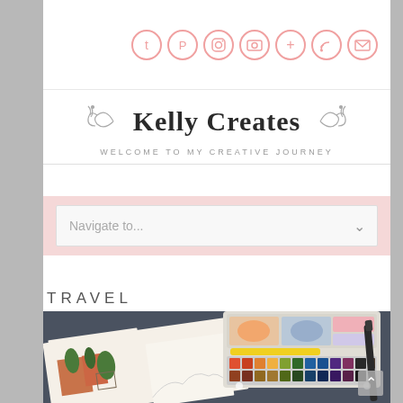Social media icons: Twitter, Pinterest, Instagram, YouTube/Camera, Google+, RSS, Email
Kelly Creates
WELCOME TO MY CREATIVE JOURNEY
Navigate to...
TRAVEL
[Figure (photo): A watercolor travel journal open to a page with a painted street scene showing buildings, plants, and a gate, alongside an open watercolor paint palette with many colors and a black pen marker, on a dark gray surface.]